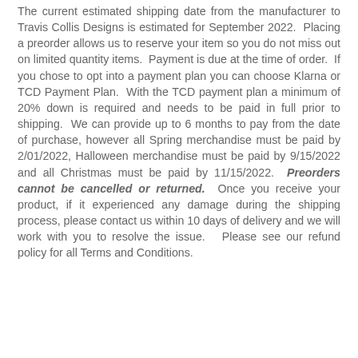The current estimated shipping date from the manufacturer to Travis Collis Designs is estimated for September 2022.  Placing a preorder allows us to reserve your item so you do not miss out on limited quantity items.  Payment is due at the time of order.  If you chose to opt into a payment plan you can choose Klarna or TCD Payment Plan.  With the TCD payment plan a minimum of 20% down is required and needs to be paid in full prior to shipping.  We can provide up to 6 months to pay from the date of purchase, however all Spring merchandise must be paid by 2/01/2022, Halloween merchandise must be paid by 9/15/2022 and all Christmas must be paid by 11/15/2022.  Preorders cannot be cancelled or returned.  Once you receive your product, if it experienced any damage during the shipping process, please contact us within 10 days of delivery and we will work with you to resolve the issue.   Please see our refund policy for all Terms and Conditions.